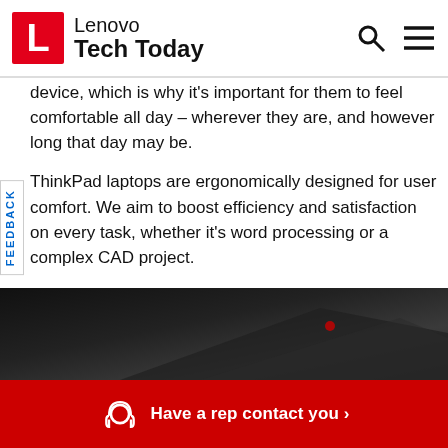Lenovo Tech Today
device, which is why it’s important for them to feel comfortable all day – wherever they are, and however long that day may be.
ThinkPad laptops are ergonomically designed for user comfort. We aim to boost efficiency and satisfaction on every task, whether it’s word processing or a complex CAD project.
And ThinkPad devices are built using fewer screws, and no glued-in components, to improve serviceability, minimizing downtime and ramping up productivity.
[Figure (photo): Dark background photo of a ThinkPad laptop partially visible]
Have a rep contact you ›